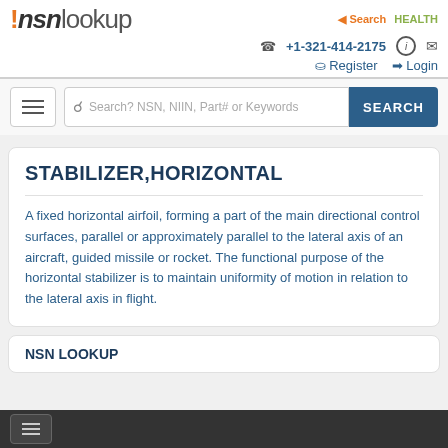!nsmlookup +1-321-414-2175 Register Login
Search? NSN, NIIN, Part# or Keywords  SEARCH
STABILIZER,HORIZONTAL
A fixed horizontal airfoil, forming a part of the main directional control surfaces, parallel or approximately parallel to the lateral axis of an aircraft, guided missile or rocket. The functional purpose of the horizontal stabilizer is to maintain uniformity of motion in relation to the lateral axis in flight.
NSN LOOKUP